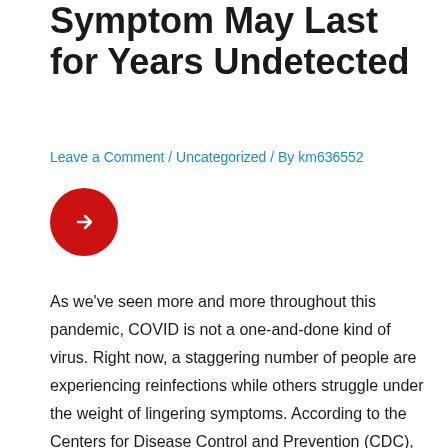Symptom May Last for Years Undetected
Leave a Comment / Uncategorized / By km636552
[Figure (other): Red circular button with white right-arrow icon]
As we've seen more and more throughout this pandemic, COVID is not a one-and-done kind of virus. Right now, a staggering number of people are experiencing reinfections while others struggle under the weight of lingering symptoms. According to the Centers for Disease Control and Prevention (CDC), many individuals are developing long COVID from their infections, which can cause certain symptoms to stick around for weeks, months, or even years. Some of the most common long-term effects include fatigue, brain fog, and sleep problems. But now, experts are sounding the alarm on one “dangerous” long COVID symptom that